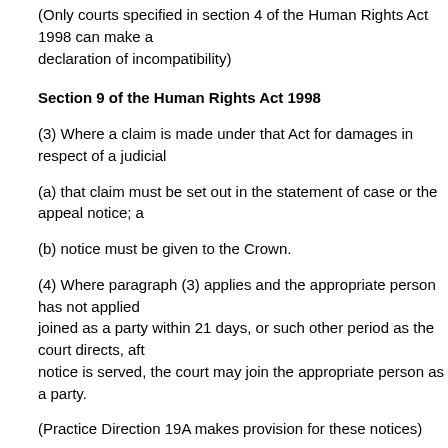(Only courts specified in section 4 of the Human Rights Act 1998 can make a declaration of incompatibility)
Section 9 of the Human Rights Act 1998
(3) Where a claim is made under that Act for damages in respect of a judicial
(a) that claim must be set out in the statement of case or the appeal notice; a
(b) notice must be given to the Crown.
(4) Where paragraph (3) applies and the appropriate person has not applied joined as a party within 21 days, or such other period as the court directs, aft notice is served, the court may join the appropriate person as a party.
(Practice Direction 19A makes provision for these notices)
Back to top
Special provisions about adding or substituting parties after the end of a relevant limitation period
19.5
(1) This rule applies to a change of parties after the end of a period of limitati